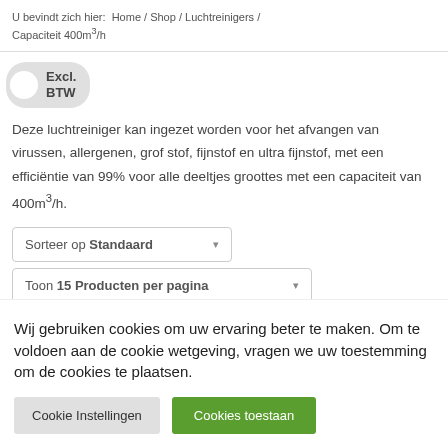U bevindt zich hier: Home / Shop / Luchtreinigers / Capaciteit 400m³/h
Excl. BTW
Deze luchtreiniger kan ingezet worden voor het afvangen van virussen, allergenen, grof stof, fijnstof en ultra fijnstof, met een efficiëntie van 99% voor alle deeltjes groottes met een capaciteit van 400m³/h.
Sorteer op Standaard
Toon 15 Producten per pagina
Wij gebruiken cookies om uw ervaring beter te maken. Om te voldoen aan de cookie wetgeving, vragen we uw toestemming om de cookies te plaatsen.
Cookie Instellingen
Cookies toestaan